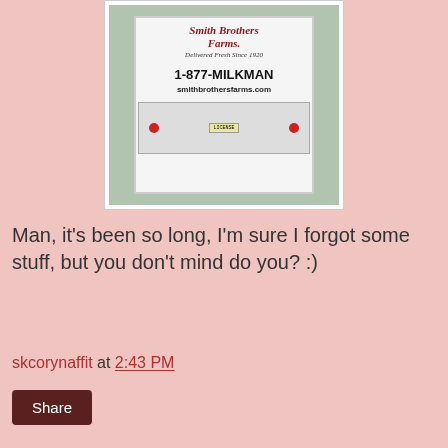[Figure (photo): Photo of the back of a Smith Brothers Farms delivery truck showing the logo, tagline 'Delivered Fresh Since 1920', phone number '1-877-MILKMAN', and website 'smithbrothersfarms.com']
Man, it's been so long, I'm sure I forgot some stuff, but you don't mind do you? :)
skcorynaffit at 2:43 PM
Share